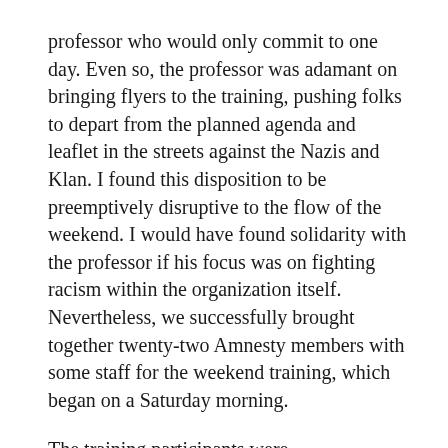professor who would only commit to one day. Even so, the professor was adamant on bringing flyers to the training, pushing folks to depart from the planned agenda and leaflet in the streets against the Nazis and Klan. I found this disposition to be preemptively disruptive to the flow of the weekend. I would have found solidarity with the professor if his focus was on fighting racism within the organization itself.  Nevertheless, we successfully brought together twenty-two Amnesty members with some staff for the weekend training, which began on a Saturday morning.
The training participants were intergenerational and multi-racial in character encompassing the full breadth of our region. I was elated and felt very proud looking at everyone's faces as introductions were taking place. Everything seemed to be going pretty well early on until a young white male student from